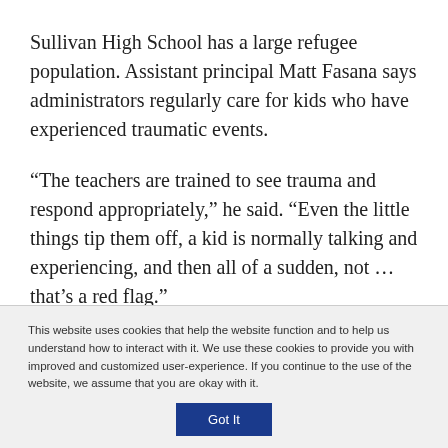Sullivan High School has a large refugee population. Assistant principal Matt Fasana says administrators regularly care for kids who have experienced traumatic events.
“The teachers are trained to see trauma and respond appropriately,” he said. “Even the little things tip them off, a kid is normally talking and experiencing, and then all of a sudden, not … that’s a red flag.”
This website uses cookies that help the website function and to help us understand how to interact with it. We use these cookies to provide you with improved and customized user-experience. If you continue to the use of the website, we assume that you are okay with it.